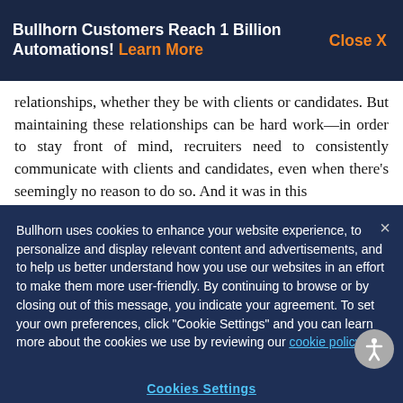Bullhorn Customers Reach 1 Billion Automations! Learn More   Close X
relationships, whether they be with clients or candidates. But maintaining these relationships can be hard work—in order to stay front of mind, recruiters need to consistently communicate with clients and candidates, even when there's seemingly no reason to do so. And it was in this
Bullhorn uses cookies to enhance your website experience, to personalize and display relevant content and advertisements, and to help us better understand how you use our websites in an effort to make them more user-friendly. By continuing to browse or by closing out of this message, you indicate your agreement. To set your own preferences, click "Cookie Settings" and you can learn more about the cookies we use by reviewing our cookie policy.
Cookies Settings